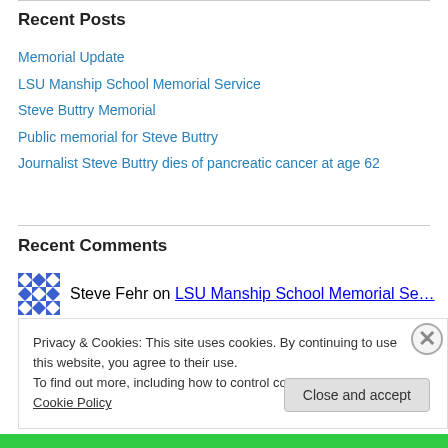Recent Posts
Memorial Update
LSU Manship School Memorial Service
Steve Buttry Memorial
Public memorial for Steve Buttry
Journalist Steve Buttry dies of pancreatic cancer at age 62
Recent Comments
Steve Fehr on LSU Manship School Memorial Se…
Privacy & Cookies: This site uses cookies. By continuing to use this website, you agree to their use. To find out more, including how to control cookies, see here: Cookie Policy
Close and accept